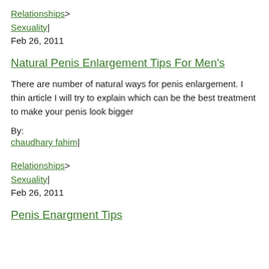Relationships > Sexuality| Feb 26, 2011
Natural Penis Enlargement Tips For Men's
There are number of natural ways for penis enlargement. I thin article I will try to explain which can be the best treatment to make your penis look bigger
By:
chaudhary fahim|
Relationships > Sexuality| Feb 26, 2011
Penis Enargment Tips